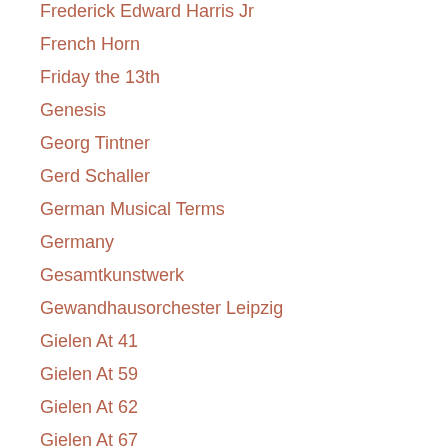Frederick Edward Harris Jr
French Horn
Friday the 13th
Genesis
Georg Tintner
Gerd Schaller
German Musical Terms
Germany
Gesamtkunstwerk
Gewandhausorchester Leipzig
Gielen At 41
Gielen At 59
Gielen At 62
Gielen At 67
Gielen At 74